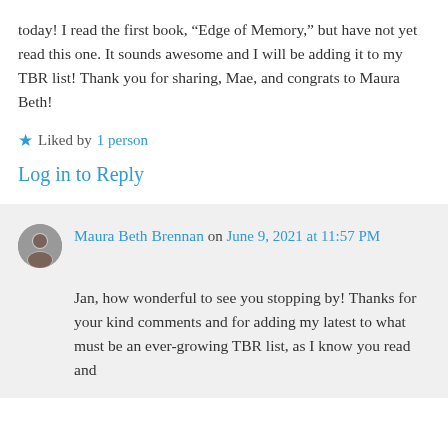today! I read the first book, “Edge of Memory,” but have not yet read this one. It sounds awesome and I will be adding it to my TBR list! Thank you for sharing, Mae, and congrats to Maura Beth!
★ Liked by 1 person
Log in to Reply
Maura Beth Brennan on June 9, 2021 at 11:57 PM
Jan, how wonderful to see you stopping by! Thanks for your kind comments and for adding my latest to what must be an ever-growing TBR list, as I know you read and